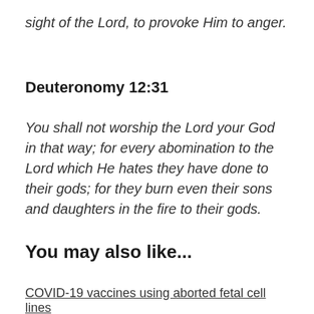sight of the Lord, to provoke Him to anger.
Deuteronomy 12:31
You shall not worship the Lord your God in that way; for every abomination to the Lord which He hates they have done to their gods; for they burn even their sons and daughters in the fire to their gods.
You may also like...
COVID-19 vaccines using aborted fetal cell lines